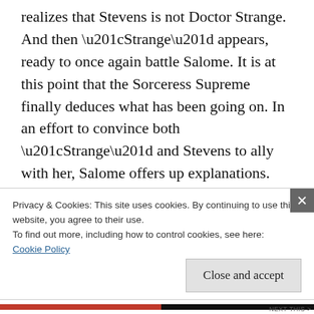realizes that Stevens is not Doctor Strange. And then “Strange” appears, ready to once again battle Salome. It is at this point that the Sorceress Supreme finally deduces what has been going on. In an effort to convince both “Strange” and Stevens to ally with her, Salome offers up explanations.
During the events of issue #61, in the midst of Doctor Strange’s explosive disappearance, he created a “stasis spiral,” stopping time. In that
Privacy & Cookies: This site uses cookies. By continuing to use this website, you agree to their use.
To find out more, including how to control cookies, see here: Cookie Policy
Close and accept